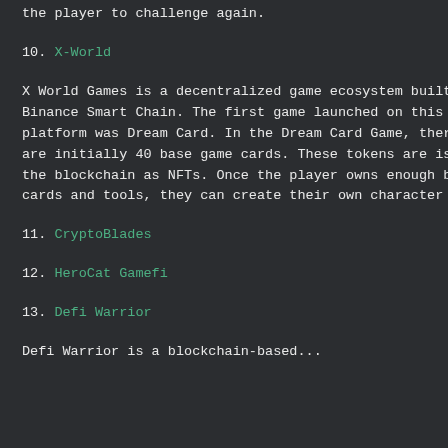the player to challenge again.
10. X-World
X World Games is a decentralized game ecosystem built on Binance Smart Chain. The first game launched on this platform was Dream Card. In the Dream Card Game, there are initially 40 base game cards. These tokens are issued on the blockchain as NFTs. Once the player owns enough basic cards and tools, they can create their own character cards.
11. CryptoBlades
12. HeroCat Gamefi
13. Defi Warrior
Defi Warrior is a blockchain-based...